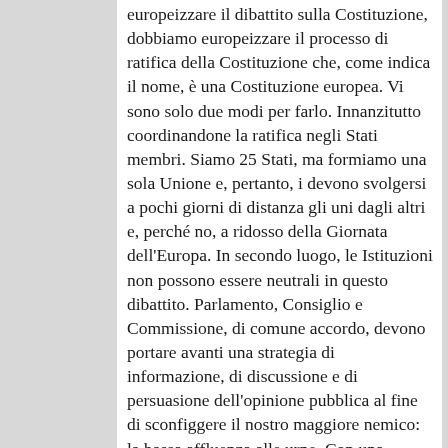europeizzare il dibattito sulla Costituzione, dobbiamo europeizzare il processo di ratifica della Costituzione che, come indica il nome, è una Costituzione europea. Vi sono solo due modi per farlo. Innanzitutto coordinandone la ratifica negli Stati membri. Siamo 25 Stati, ma formiamo una sola Unione e, pertanto, i devono svolgersi a pochi giorni di distanza gli uni dagli altri e, perché no, a ridosso della Giornata dell'Europa. In secondo luogo, le Istituzioni non possono essere neutrali in questo dibattito. Parlamento, Consiglio e Commissione, di comune accordo, devono portare avanti una strategia di informazione, di discussione e di persuasione dell'opinione pubblica al fine di sconfiggere il nostro maggiore nemico: la bassa affluenza alle urne. Con una partecipazione